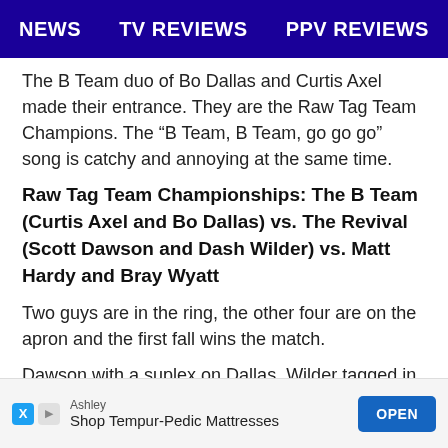NEWS   TV REVIEWS   PPV REVIEWS
The B Team duo of Bo Dallas and Curtis Axel made their entrance. They are the Raw Tag Team Champions. The “B Team, B Team, go go go” song is catchy and annoying at the same time.
Raw Tag Team Championships: The B Team (Curtis Axel and Bo Dallas) vs. The Revival (Scott Dawson and Dash Wilder) vs. Matt Hardy and Bray Wyatt
Two guys are in the ring, the other four are on the apron and the first fall wins the match.
Dawson with a suplex on Dallas. Wilder tagged in and Dallas hit a forearm on him. Hardy tagged in. Hardy Corner...de